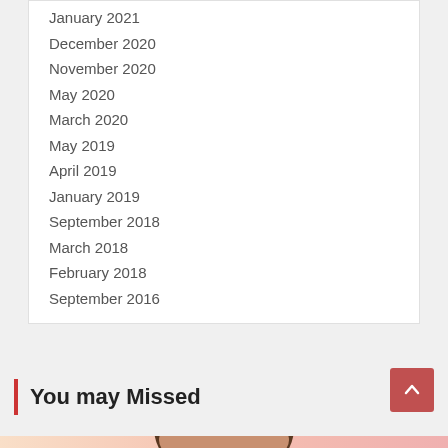January 2021
December 2020
November 2020
May 2020
March 2020
May 2019
April 2019
January 2019
September 2018
March 2018
February 2018
September 2016
You may Missed
[Figure (photo): Portrait photo of a person, showing top of head with dark hair, against a warm gradient background]